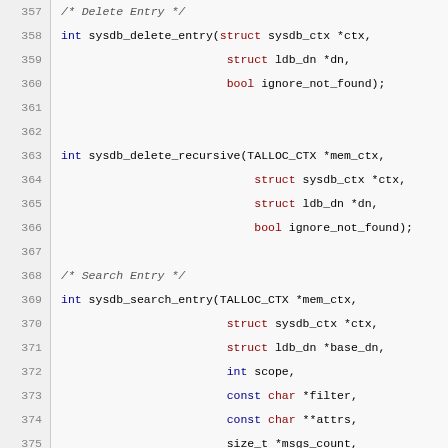Code listing lines 357-379: C function declarations for sysdb_delete_entry, sysdb_delete_recursive, sysdb_search_entry, sysdb_search_user_by_name